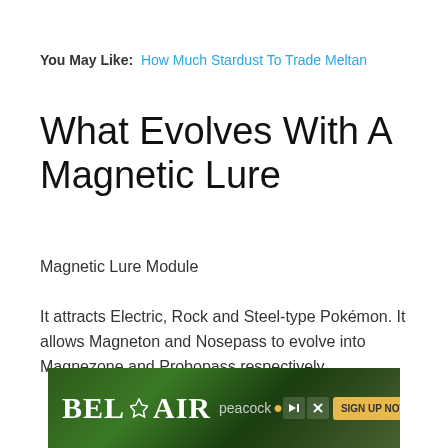You May Like:  How Much Stardust To Trade Meltan
What Evolves With A Magnetic Lure
Magnetic Lure Module
It attracts Electric, Rock and Steel-type Pokémon. It allows Magneton and Nosepass to evolve into Magnezone and Probopass respectively.
[Figure (photo): Bel-Air Peacock TV show advertisement banner with forest background and 'SIGN UP NOW' button]